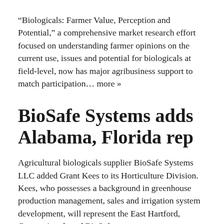“Biologicals: Farmer Value, Perception and Potential,” a comprehensive market research effort focused on understanding farmer opinions on the current use, issues and potential for biologicals at field-level, now has major agribusiness support to match participation… more »
BioSafe Systems adds Alabama, Florida rep
Agricultural biologicals supplier BioSafe Systems LLC added Grant Kees to its Horticulture Division. Kees, who possesses a background in greenhouse production management, sales and irrigation system development, will represent the East Hartford, Connecticut-based BioSafe to… more »